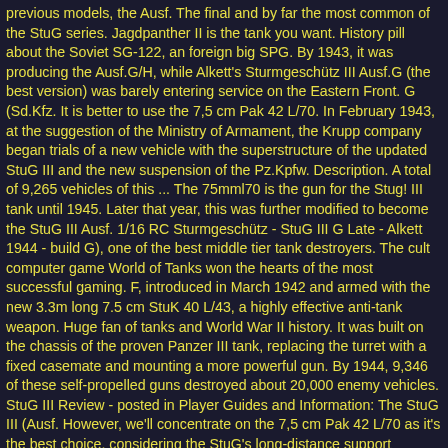previous models, the Ausf. The final and by far the most common of the StuG series. Jagdpanther II is the tank you want. History pill about the Soviet SG-122, an foreign big SPG. By 1943, it was producing the Ausf.G/H, while Alkett's Sturmgeschütz III Ausf.G (the best version) was barely entering service on the Eastern Front. G (Sd.Kfz. It is better to use the 7,5 cm Pak 42 L/70. In February 1943, at the suggestion of the Ministry of Armament, the Krupp company began trials of a new vehicle with the superstructure of the updated StuG III and the new suspension of the Pz.Kpfw. Description. A total of 9,265 vehicles of this ... The 75mml70 is the gun for the Stug! III tank until 1945. Later that year, this was further modified to become the StuG III Ausf. 1/16 RC Sturmgeschütz - StuG III G Late - Alkett 1944 - build G), one of the best middle tier tank destroyers. The cult computer game World of Tanks won the hearts of the most successful gaming. F, introduced in March 1942 and armed with the new 3.3m long 7.5 cm StuK 40 L/43, a highly effective anti-tank weapon. Huge fan of tanks and World War II history. It was built on the chassis of the proven Panzer III tank, replacing the turret with a fixed casemate and mounting a more powerful gun. By 1944, 9,346 of these self-propelled guns destroyed about 20,000 enemy vehicles. StuG III Review - posted in Player Guides and Information: The StuG III (Ausf. However, we'll concentrate on the 7,5 cm Pak 42 L/70 as it's the best choice, considering the StuG's long-distance support gameplay.A high rate of fire paired with great accuracy and penetrati